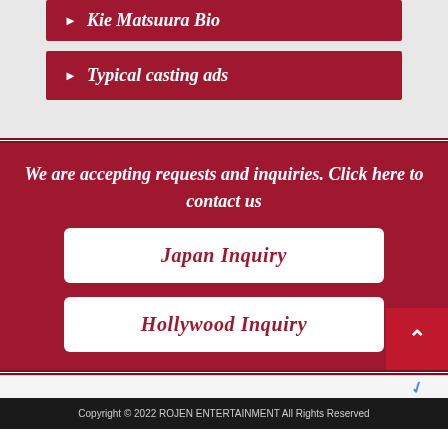Kie Matsuura Bio
Typical casting ads
We are accepting requests and inquiries. Click here to contact us
Japan Inquiry
Hollywood Inquiry
Copyright © 2022 ROJEN ENTERTAINMENT All Rights Reserved